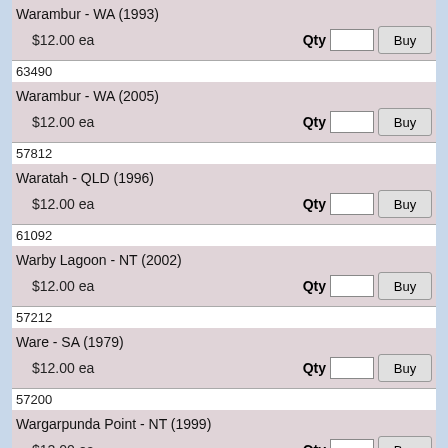| Product | ID | Price | Action |
| --- | --- | --- | --- |
| Warambur - WA (1993) |  | $12.00 ea | Buy |
| 63490 |  |  |  |
| Warambur - WA (2005) |  | $12.00 ea | Buy |
| 57812 |  |  |  |
| Waratah - QLD (1996) |  | $12.00 ea | Buy |
| 61092 |  |  |  |
| Warby Lagoon - NT (2002) |  | $12.00 ea | Buy |
| 57212 |  |  |  |
| Ware - SA (1979) |  | $12.00 ea | Buy |
| 57200 |  |  |  |
| Wargarpunda Point - NT (1999) |  | $12.00 ea | Buy |
| 57969 |  |  |  |